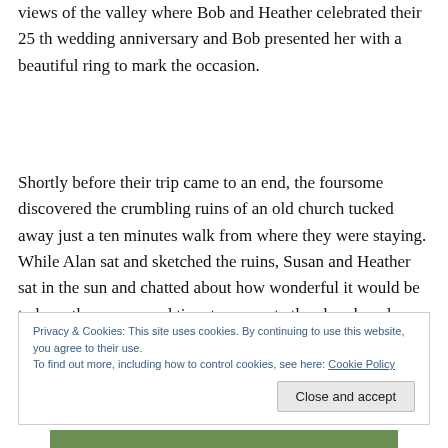views of the valley where Bob and Heather celebrated their 25 th wedding anniversary and Bob presented her with a beautiful ring to mark the occasion.
Shortly before their trip came to an end, the foursome discovered the crumbling ruins of an old church tucked away just a ten minutes walk from where they were staying. While Alan sat and sketched the ruins, Susan and Heather sat in the sun and chatted about how wonderful it would be to have the money and time to renovate the church and make it into something….
Privacy & Cookies: This site uses cookies. By continuing to use this website, you agree to their use. To find out more, including how to control cookies, see here: Cookie Policy
Close and accept
[Figure (photo): Partial photo at bottom of page showing trees and possibly a church ruin]